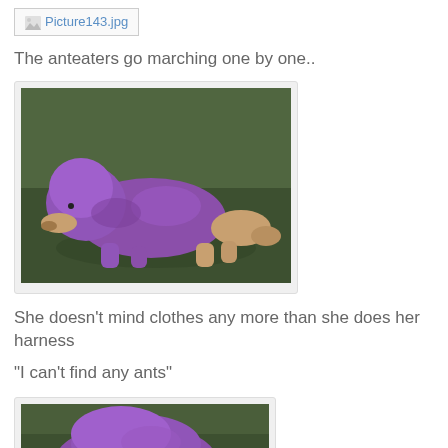[Figure (other): Broken image placeholder labeled Picture143.jpg]
The anteaters go marching one by one..
[Figure (photo): A dog wearing a purple outfit/costume lying on grass, stretching its nose toward the ground like an anteater.]
She doesn't mind clothes any more than she does her harness
"I can't find any ants"
[Figure (photo): Partial view of the same dog in purple outfit on grass, cropped at bottom of page.]